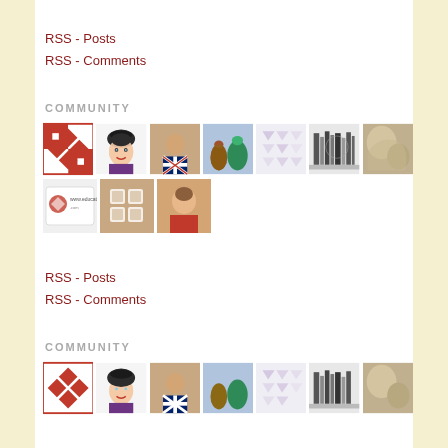RSS - Posts
RSS - Comments
COMMUNITY
[Figure (photo): Grid of community member avatar thumbnails, two rows: row 1 has 7 avatars (quilt pattern, cartoon woman, man with UK flag shirt, pottery vases, faint triangle pattern, bookshelf bw, stone texture); row 2 has 3 avatars (education logo card, grid logo, man in red shirt)]
RSS - Posts
RSS - Comments
COMMUNITY
[Figure (photo): Partial view of community avatars grid, same as above (page repeat)]